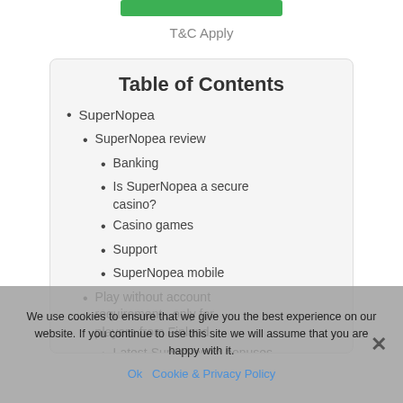T&C Apply
Table of Contents
SuperNopea
SuperNopea review
Banking
Is SuperNopea a secure casino?
Casino games
Support
SuperNopea mobile
Play without account requirement , only for players from Finland
Latest SuperNopea bonuses
We use cookies to ensure that we give you the best experience on our website. If you continue to use this site we will assume that you are happy with it.
Ok   Cookie & Privacy Policy